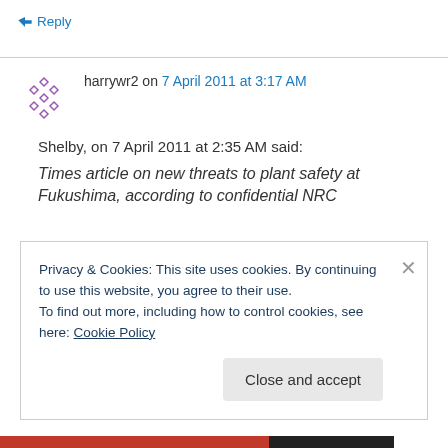↳ Reply
harrywr2 on 7 April 2011 at 3:17 AM
Shelby, on 7 April 2011 at 2:35 AM said:
Times article on new threats to plant safety at Fukushima, according to confidential NRC
Privacy & Cookies: This site uses cookies. By continuing to use this website, you agree to their use.
To find out more, including how to control cookies, see here: Cookie Policy
Close and accept